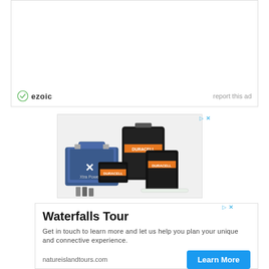[Figure (other): Ezoic ad placeholder box with ezoic logo and 'report this ad' link at bottom]
[Figure (photo): Advertisement showing Duracell battery products including car battery, AA batteries, bulbs, and other battery products]
[Figure (other): Waterfalls Tour advertisement with text 'Get in touch to learn more and let us help you plan your unique and connective experience.' with natureislandtours.com and Learn More button]